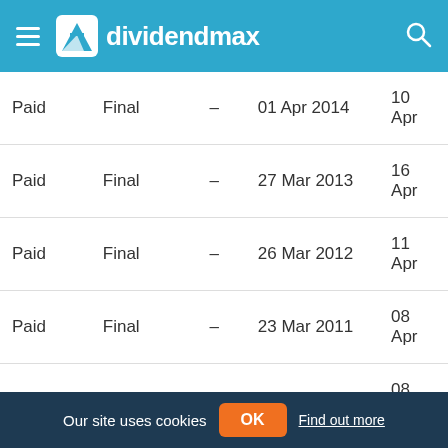dividendmax
| Status | Type |  | Ex-Date | Pay Date |
| --- | --- | --- | --- | --- |
| Paid | Final | – | 01 Apr 2014 | 10 Apr |
| Paid | Final | – | 27 Mar 2013 | 16 Apr |
| Paid | Final | – | 26 Mar 2012 | 11 Apr |
| Paid | Final | – | 23 Mar 2011 | 08 Apr |
| Paid | Final | – | 19 Mar 2010 | 08 Apr |
| Paid | Final | – | 19 Mar 2009 | 30 Mar |
| Paid | Final | – | 19 Mar 2008 | – |
Our site uses cookies OK Find out more